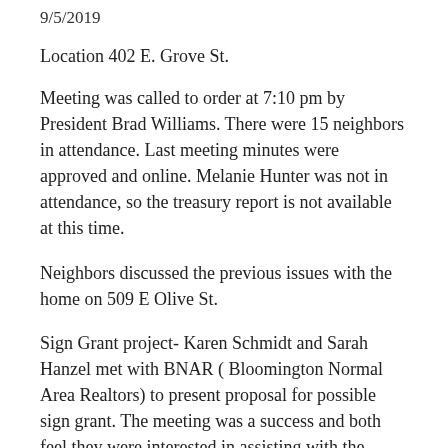9/5/2019
Location 402 E. Grove St.
Meeting was called to order at 7:10 pm by President Brad Williams. There were 15 neighbors in attendance. Last meeting minutes were approved and online. Melanie Hunter was not in attendance, so the treasury report is not available at this time.
Neighbors discussed the previous issues with the home on 509 E Olive St.
Sign Grant project- Karen Schmidt and Sarah Hanzel met with BNAR ( Bloomington Normal Area Realtors) to present proposal for possible sign grant. The meeting was a success and both feel they were interested in assisting with the project and that it did meet within their requirements.